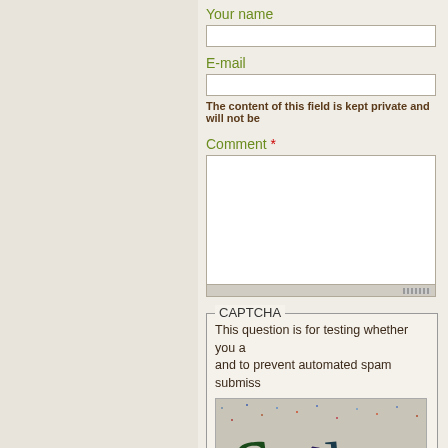Your name
E-mail
The content of this field is kept private and will not be
Comment *
CAPTCHA
This question is for testing whether you a and to prevent automated spam submiss
[Figure (other): CAPTCHA image showing distorted text characters: S 4 l A t on a speckled background]
Image CAPTCHA
What code is in the image? *
Enter the characters shown in the image.